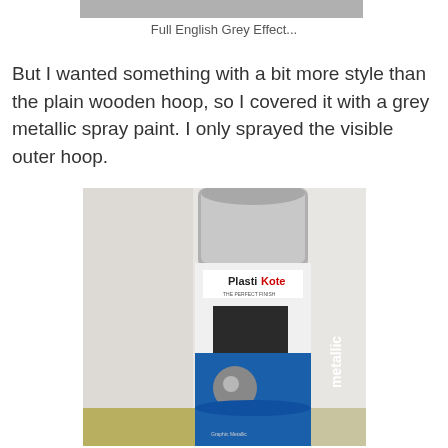[Figure (photo): Partial view of a grey-effect result image cropped at top]
Full English Grey Effect...
But I wanted something with a bit more style than the plain wooden hoop, so I covered it with a grey metallic spray paint. I only sprayed the visible outer hoop.
[Figure (photo): A PlastiKote metallic spray paint can in silver and blue, sitting on a surface against a light wall background]